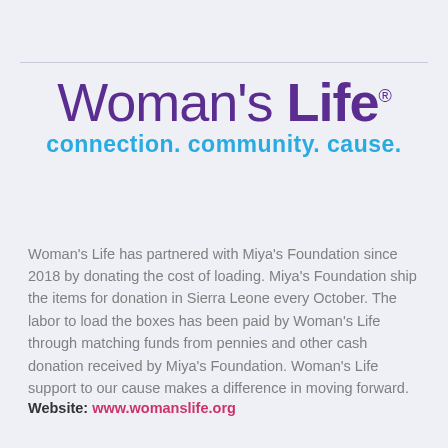[Figure (logo): Woman's Life logo with tagline 'connection. community. cause.']
Woman's Life has partnered with Miya's Foundation since 2018 by donating the cost of loading. Miya's Foundation ship the items for donation in Sierra Leone every October. The labor to load the boxes has been paid by Woman's Life through matching funds from pennies and other cash donation received by Miya's Foundation. Woman's Life support to our cause makes a difference in moving forward.
Website: www.womanslife.org